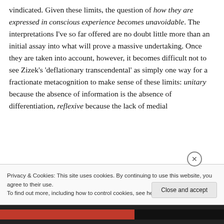vindicated. Given these limits, the question of how they are expressed in conscious experience becomes unavoidable. The interpretations I've so far offered are no doubt little more than an initial assay into what will prove a massive undertaking. Once they are taken into account, however, it becomes difficult not to see Zizek's 'deflationary transcendental' as simply one way for a fractionate metacognition to make sense of these limits: unitary because the absence of information is the absence of differentiation, reflexive because the lack of medial
Privacy & Cookies: This site uses cookies. By continuing to use this website, you agree to their use.
To find out more, including how to control cookies, see here: Cookie Policy